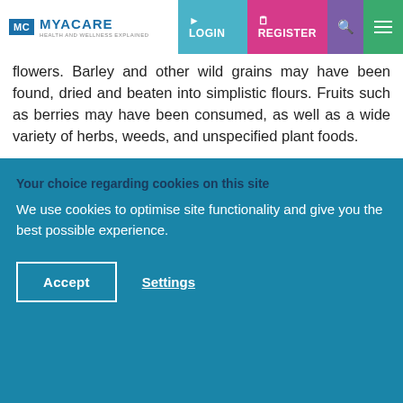MYACARE | LOGIN | REGISTER
flowers. Barley and other wild grains may have been found, dried and beaten into simplistic flours. Fruits such as berries may have been consumed, as well as a wide variety of herbs, weeds, and unspecified plant foods.
Contrary to the conventional idea of a caveman, the hunter-gatherer diet was predominantly plant-based with a limited meat intake. This is perhaps due to meat scarcity, the time and effort involved in hunting, and the wider availability of plant-based foods in the environment. It is estimated that
Your choice regarding cookies on this site
We use cookies to optimise site functionality and give you the best possible experience.
Accept
Settings